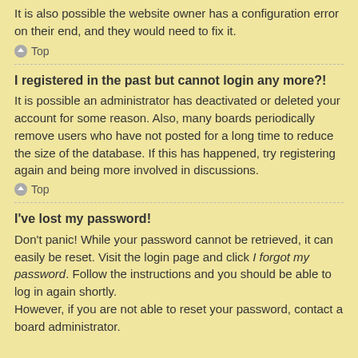It is also possible the website owner has a configuration error on their end, and they would need to fix it.
Top
I registered in the past but cannot login any more?!
It is possible an administrator has deactivated or deleted your account for some reason. Also, many boards periodically remove users who have not posted for a long time to reduce the size of the database. If this has happened, try registering again and being more involved in discussions.
Top
I've lost my password!
Don't panic! While your password cannot be retrieved, it can easily be reset. Visit the login page and click I forgot my password. Follow the instructions and you should be able to log in again shortly.
However, if you are not able to reset your password, contact a board administrator.